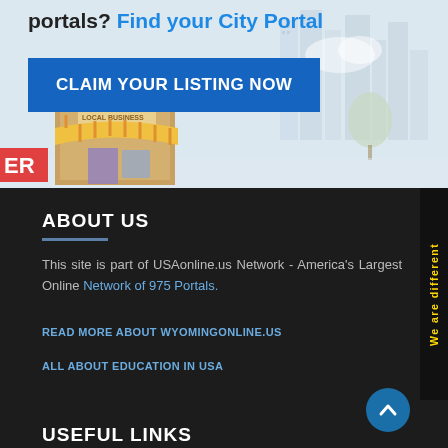[Figure (illustration): Top banner with city skyline background, local business storefront illustration, portal signup prompt, and claim listing button]
portals? Find your City Portal
CLAIM YOUR LISTING NOW
We are different
ABOUT US
This site is part of USAonline.us Network - America's Largest Online Network of 975 Portals.
READ MORE ABOUT WYOMINGONLINE.US
ALL ABOUT EDUCATION IN USA
USEFUL LINKS